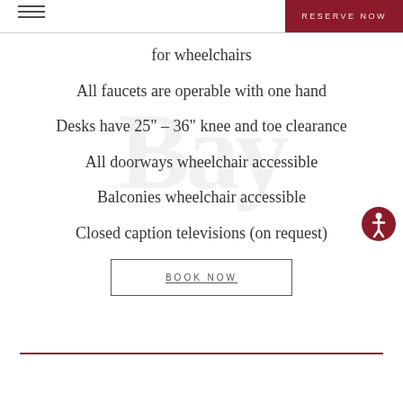RESERVE NOW
for wheelchairs
All faucets are operable with one hand
Desks have 25" - 36" knee and toe clearance
All doorways wheelchair accessible
Balconies wheelchair accessible
Closed caption televisions (on request)
BOOK NOW